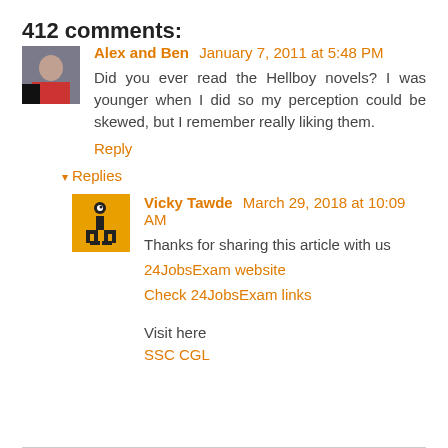412 comments:
Alex and Ben  January 7, 2011 at 5:48 PM
Did you ever read the Hellboy novels? I was younger when I did so my perception could be skewed, but I remember really liking them.
Reply
▾ Replies
Vicky Tawde  March 29, 2018 at 10:09 AM
Thanks for sharing this article with us
24JobsExam website
Check 24JobsExam links
Visit here
SSC CGL